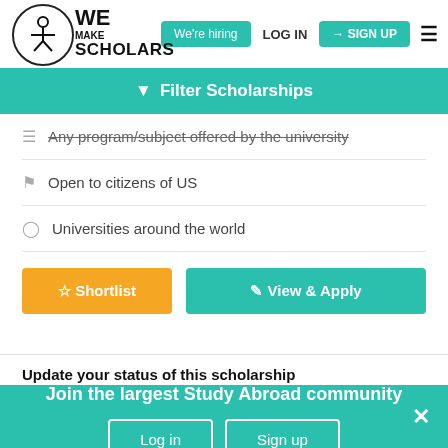[Figure (logo): We Make Scholars logo with circle and figure]
We're hiring
LOG IN
SIGN UP
Filter Scholarships
Any program/subject offered by the university
Open to citizens of US
Universities around the world
Shortlist
View & Apply
Update your status of this scholarship
Join the largest Study Abroad community
Log in
Sign up